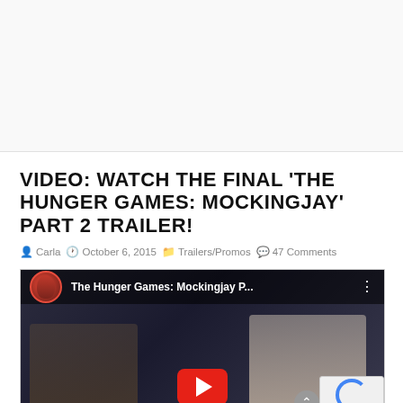[Figure (other): Advertisement/blank space at top of page]
VIDEO: WATCH THE FINAL 'THE HUNGER GAMES: MOCKINGJAY' PART 2 TRAILER!
Carla   October 6, 2015   Trailers/Promos   47 Comments
[Figure (screenshot): YouTube video embed showing The Hunger Games: Mockingjay P... with two characters visible and a red play button in the center. A reCAPTCHA badge is visible in the bottom right corner.]